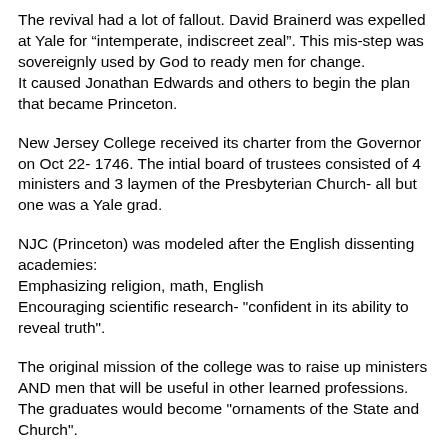The revival had a lot of fallout. David Brainerd was expelled at Yale for “intemperate, indiscreet zeal”. This mis-step was sovereignly used by God to ready men for change. It caused Jonathan Edwards and others to begin the plan that became Princeton.
New Jersey College received its charter from the Governor on Oct 22- 1746. The intial board of trustees consisted of 4 ministers and 3 laymen of the Presbyterian Church- all but one was a Yale grad.
NJC (Princeton) was modeled after the English dissenting academies:
Emphasizing religion, math, English
Encouraging scientific research- "confident in its ability to reveal truth".
The original mission of the college was to raise up ministers AND men that will be useful in other learned professions. The graduates would become "ornaments of the State and Church".